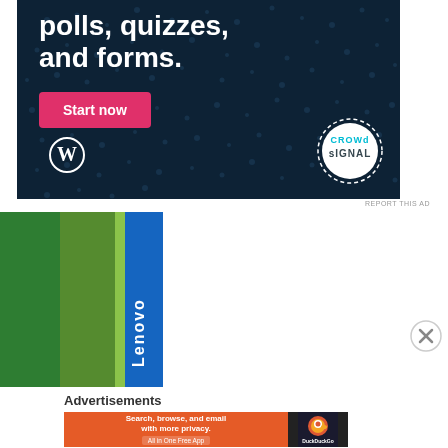[Figure (advertisement): Crowdsignal/WordPress ad on dark navy background showing 'polls, quizzes, and forms.' text with pink 'Start now' button, WordPress logo bottom left, and Crowdsignal circular badge bottom right]
REPORT THIS AD
[Figure (advertisement): Lenovo ad with green gradient background and blue vertical 'Lenovo' brand strip on the right side]
[Figure (other): Close/dismiss button (X in circle)]
Advertisements
[Figure (advertisement): DuckDuckGo ad with orange background: 'Search, browse, and email with more privacy. All in One Free App' with DuckDuckGo logo on dark right panel]